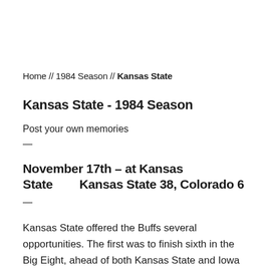Home // 1984 Season // Kansas State
Kansas State - 1984 Season
Post your own memories
—
November 17th – at Kansas State        Kansas State 38, Colorado 6
—
Kansas State offered the Buffs several opportunities. The first was to finish sixth in the Big Eight, ahead of both Kansas State and Iowa State. The second was to avoid the